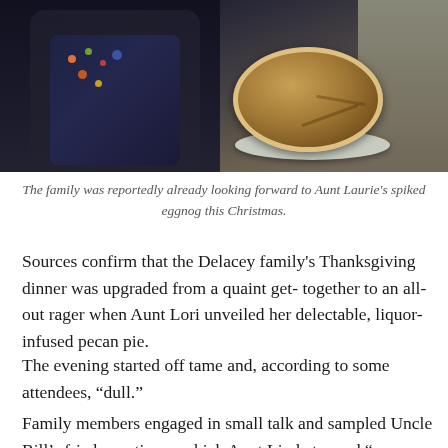[Figure (photo): A person wearing a dark floral apron holds a baked pie in a white dish, photographed indoors.]
The family was reportedly already looking forward to Aunt Laurie's spiked eggnog this Christmas.
Sources confirm that the Delacey family's Thanksgiving dinner was upgraded from a quaint get- together to an all-out rager when Aunt Lori unveiled her delectable, liquor-infused pecan pie.
The evening started off tame and, according to some attendees, “dull.”
Family members engaged in small talk and sampled Uncle Bill’s fried appetizers, which Aunt Linda termed “